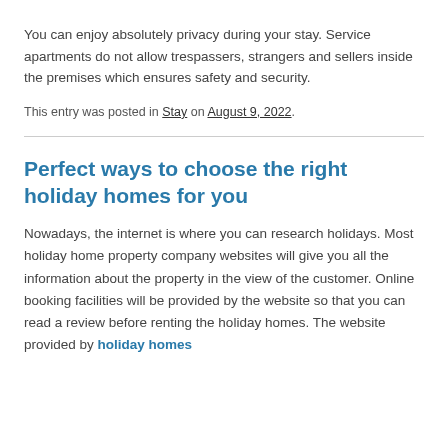You can enjoy absolutely privacy during your stay. Service apartments do not allow trespassers, strangers and sellers inside the premises which ensures safety and security.
This entry was posted in Stay on August 9, 2022.
Perfect ways to choose the right holiday homes for you
Nowadays, the internet is where you can research holidays. Most holiday home property company websites will give you all the information about the property in the view of the customer. Online booking facilities will be provided by the website so that you can read a review before renting the holiday homes. The website provided by holiday homes